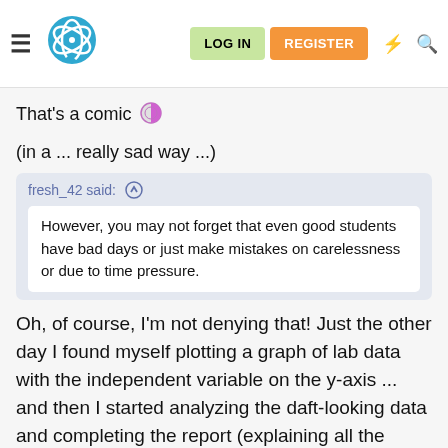LOG IN | REGISTER (navigation bar with logo)
That's a comic 🌓
(in a ... really sad way ...)
fresh_42 said: ↑
However, you may not forget that even good students have bad days or just make mistakes on carelessness or due to time pressure.
Oh, of course, I'm not denying that! Just the other day I found myself plotting a graph of lab data with the independent variable on the y-axis ... and then I started analyzing the daft-looking data and completing the report (explaining all the possible errors affecting the conclusion) without the slightest idea on where